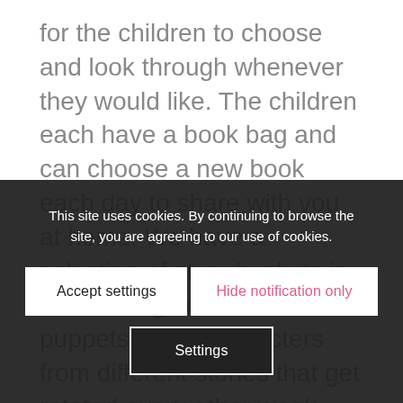for the children to choose and look through whenever they would like. The children each have a book bag and can choose a new book each day to share with you at home. We have a selection of story baskets in the reading corner with puppets/props/characters from different stories that get rotated every other week. There is also the opportunity to use the CD player to listen to music or a story too. We also use the Snuggery for one of our snack time groups and as an area if any of the children need a little lie down. (We have fold out beds that we use when needed!)
This site uses cookies. By continuing to browse the site, you are agreeing to our use of cookies.
Accept settings
Hide notification only
Settings